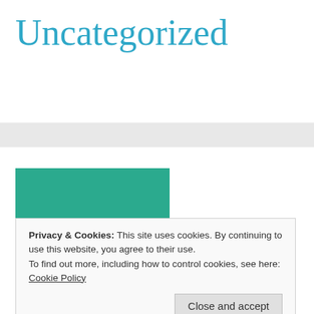Uncategorized
[Figure (logo): Teal/green square logo with white text reading 'travel' at the bottom left, partially cropped]
Privacy & Cookies: This site uses cookies. By continuing to use this website, you agree to their use.
To find out more, including how to control cookies, see here:
Cookie Policy
Close and accept